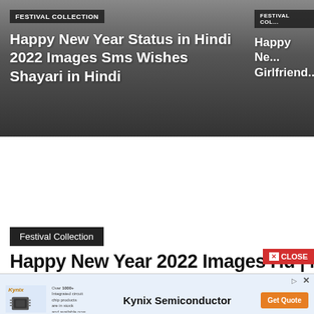[Figure (screenshot): Website screenshot showing two card thumbnails with dark gradient backgrounds. Left card has 'FESTIVAL COLLECTION' badge and title 'Happy New Year Status in Hindi 2022 Images Sms Wishes Shayari in Hindi'. Right card (partially visible) has 'FESTIVAL COL...' badge and title 'Happy Ne... Girlfriend...']
Festival Collection
Happy New Year 2022 Images Hd | New...
[Figure (screenshot): Kynix Semiconductor advertisement banner with chip image, company logo, and 'Get Quote' orange button]